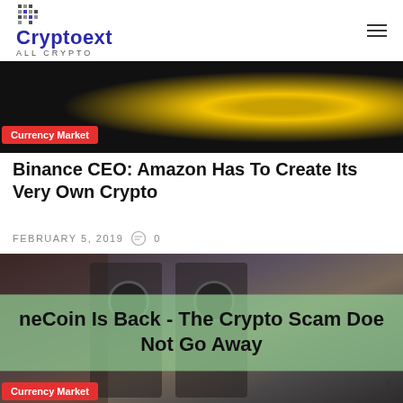Cryptoext ALL CRYPTO
[Figure (photo): Dark background with yellow circular logo partially visible, with red Currency Market badge]
Binance CEO: Amazon Has To Create Its Very Own Crypto
FEBRUARY 5, 2019  0
[Figure (photo): Photo of people near ATMs with green semi-transparent overlay text: OneCoin Is Back - The Crypto Scam Does Not Go Away, with red Currency Market badge]
OneCoin Is Back – The Crypto Scam Does Not Go Away
AUGUST 15, 2019  0